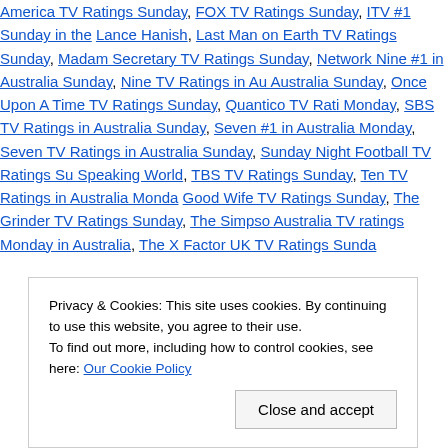America TV Ratings Sunday, FOX TV Ratings Sunday, ITV #1 Sunday in the Lance Hanish, Last Man on Earth TV Ratings Sunday, Madam Secretary TV Ratings Sunday, Network Nine #1 in Australia Sunday, Nine TV Ratings in Australia Sunday, Once Upon A Time TV Ratings Sunday, Quantico TV Ratings Monday, SBS TV Ratings in Australia Sunday, Seven #1 in Australia Monday, Seven TV Ratings in Australia Sunday, Sunday Night Football TV Ratings Speaking World, TBS TV Ratings Sunday, Ten TV Ratings in Australia Monday, Good Wife TV Ratings Sunday, The Grinder TV Ratings Sunday, The Simpsons Australia TV ratings Monday in Australia, The X Factor UK TV Ratings Sunday
Privacy & Cookies: This site uses cookies. By continuing to use this website, you agree to their use. To find out more, including how to control cookies, see here: Our Cookie Policy
Close and accept